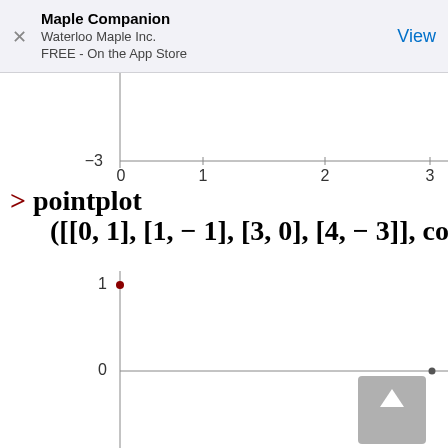Maple Companion
Waterloo Maple Inc.
FREE - On the App Store
[Figure (continuous-plot): Partial view of a Maple scatter/line plot showing y-axis label -3 and x-axis labels 0, 1, 2, 3. Upper portion of chart cropped.]
> pointplot
([[0, 1], [1, − 1], [3, 0], [4, − 3]], color
[Figure (scatter-plot): Maple pointplot showing points at (0,1) marked in red at top-left of visible area, (3,0) near right edge near y=0, and a scroll button overlay. Chart shows y-axis labels 1, 0 and is partially cropped.]